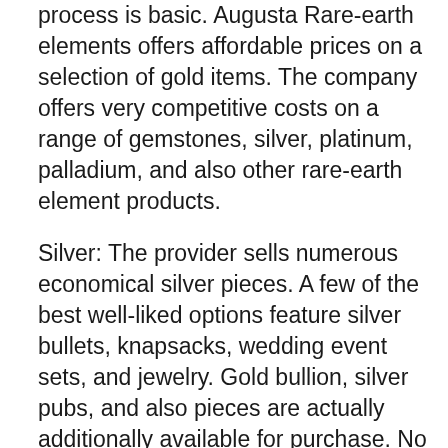process is basic. Augusta Rare-earth elements offers affordable prices on a selection of gold items. The company offers very competitive costs on a range of gemstones, silver, platinum, palladium, and also other rare-earth element products.
Silver: The provider sells numerous economical silver pieces. A few of the best well-liked options feature silver bullets, knapsacks, wedding event sets, and jewelry. Gold bullion, silver pubs, and also pieces are actually additionally available for purchase. No matter what kind of rare-earth element you decide on, there will definitely be an economical solution. There are actually no yearly fees linked with having Augusta Rare-earth Metals...